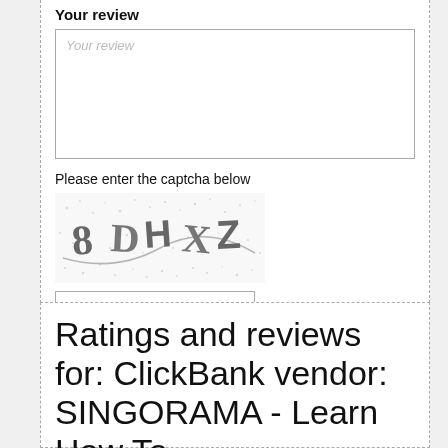Your review
[Figure (screenshot): Text area input field for writing a review, with placeholder text 'Your review']
Please enter the captcha below
[Figure (photo): CAPTCHA image showing distorted text '8DHXZ' with noise and swirl effects]
[Figure (screenshot): Text input field for entering captcha code]
Type the code from the image
Submit review
Ratings and reviews for: ClickBank vendor: SINGORAMA - Learn How To